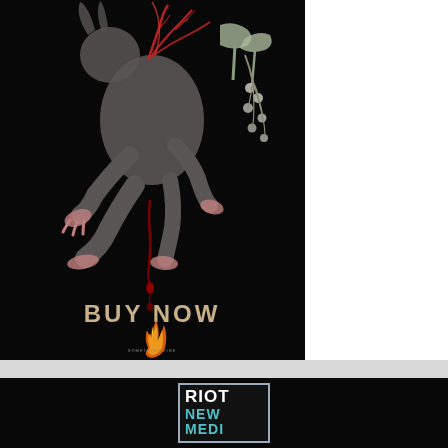[Figure (illustration): Dark background illustration of a hanging animal (rabbit/hare) with exposed red vein/root structures, botanical elements, and blood dripping. Text 'BUY NOW' appears in gold/tan letters below the animal. A flame logo icon appears beneath with small text underneath.]
[Figure (logo): RIOT NEW MEDIA logo in a silver-bordered black rectangle. 'RIOT' in white bold text, 'NEW' and 'MEDI' (partially visible) in teal/cyan bold text.]